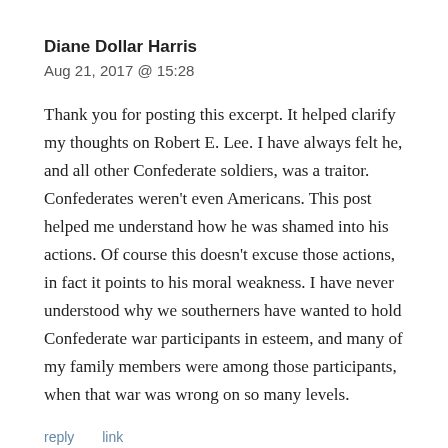Diane Dollar Harris
Aug 21, 2017 @ 15:28
Thank you for posting this excerpt. It helped clarify my thoughts on Robert E. Lee. I have always felt he, and all other Confederate soldiers, was a traitor. Confederates weren't even Americans. This post helped me understand how he was shamed into his actions. Of course this doesn't excuse those actions, in fact it points to his moral weakness. I have never understood why we southerners have wanted to hold Confederate war participants in esteem, and many of my family members were among those participants, when that war was wrong on so many levels.
reply    link